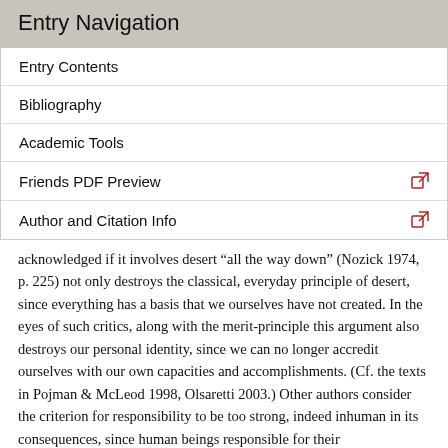Entry Navigation
Entry Contents
Bibliography
Academic Tools
Friends PDF Preview
Author and Citation Info
acknowledged if it involves desert “all the way down” (Nozick 1974, p. 225) not only destroys the classical, everyday principle of desert, since everything has a basis that we ourselves have not created. In the eyes of such critics, along with the merit-principle this argument also destroys our personal identity, since we can no longer accredit ourselves with our own capacities and accomplishments. (Cf. the texts in Pojman & McLeod 1998, Olsaretti 2003.) Other authors consider the criterion for responsibility to be too strong, indeed inhuman in its consequences, since human beings responsible for their